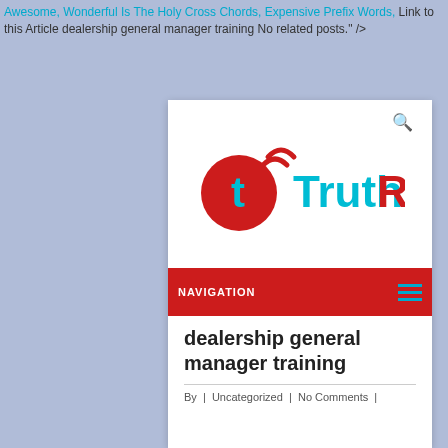Awesome, Wonderful Is The Holy Cross Chords, Expensive Prefix Words, Link to this Article dealership general manager training No related posts." />
[Figure (logo): TruthRss logo with red circle containing cyan letter t and wifi signal arcs, with TruthRss text in cyan and red]
dealership general manager training
By | Uncategorized | No Comments |